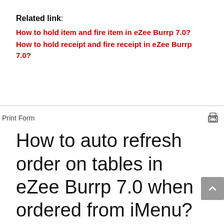Related link:
How to hold item and fire item in eZee Burrp 7.0?
How to hold receipt and fire receipt in eZee Burrp 7.0?
Print Form
How to auto refresh order on tables in eZee Burrp 7.0 when ordered from iMenu?